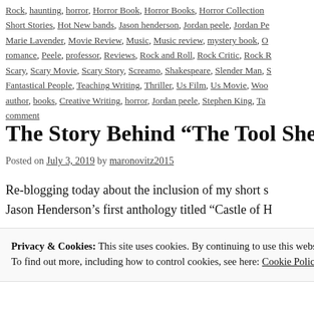Rock, haunting, horror, Horror Book, Horror Books, Horror Collection, Short Stories, Hot New bands, Jason henderson, Jordan peele, Jordan Pe…, Marie Lavender, Movie Review, Music, Music review, mystery book, O…, romance, Peele, professor, Reviews, Rock and Roll, Rock Critic, Rock R…, Scary, Scary Movie, Scary Story, Screamo, Shakespeare, Slender Man, S…, Fantastical People, Teaching Writing, Thriller, Us Film, Us Movie, Woo…, author, books, Creative Writing, horror, Jordan peele, Stephen King, Ta…, comment
The Story Behind “The Tool Shed”
Posted on July 3, 2019 by maronovitz2015
Re-blogging today about the inclusion of my short s… Jason Henderson’s first anthology titled “Castle of H…
Privacy & Cookies: This site uses cookies. By continuing to use this website, you agree to their use.
To find out more, including how to control cookies, see here: Cookie Policy